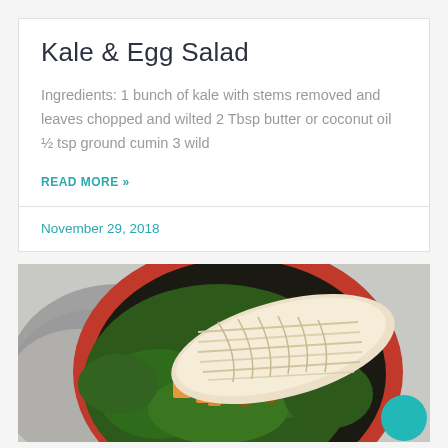Kale & Egg Salad
Ingredients: 1 bunch of kale with stems removed and leaves chopped and wilted 2 Tbsp butter or coconut oil ½ tsp ground cumin 3 wild
READ MORE »
November 29, 2018
[Figure (photo): Overhead photo of a salad bowl with sliced grilled chicken breast, kale, roasted butternut squash cubes, and walnuts in a red bowl, placed on a grey cloth napkin]